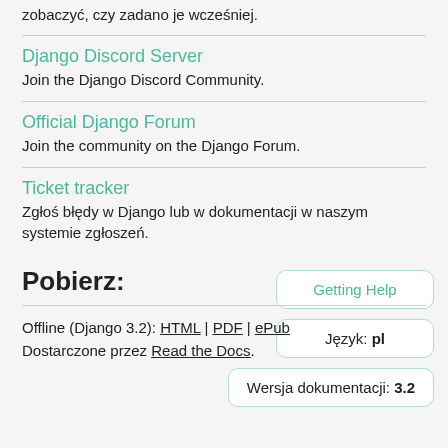zobaczyć, czy zadano je wcześniej.
Django Discord Server
Join the Django Discord Community.
Official Django Forum
Join the community on the Django Forum.
Ticket tracker
Zgłoś błędy w Django lub w dokumentacji w naszym systemie zgłoszeń.
Pobierz:
Offline (Django 3.2): HTML | PDF | ePub
Dostarczone przez Read the Docs.
Getting Help
Język: pl
Wersja dokumentacji: 3.2